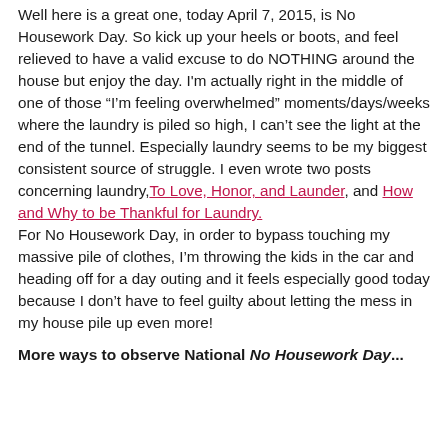Well here is a great one, today April 7, 2015, is No Housework Day. So kick up your heels or boots, and feel relieved to have a valid excuse to do NOTHING around the house but enjoy the day. I'm actually right in the middle of one of those "I'm feeling overwhelmed" moments/days/weeks where the laundry is piled so high, I can't see the light at the end of the tunnel. Especially laundry seems to be my biggest consistent source of struggle. I even wrote two posts concerning laundry, To Love, Honor, and Launder, and How and Why to be Thankful for Laundry.
For No Housework Day, in order to bypass touching my massive pile of clothes, I'm throwing the kids in the car and heading off for a day outing and it feels especially good today because I don't have to feel guilty about letting the mess in my house pile up even more!
More ways to observe National No Housework Day...